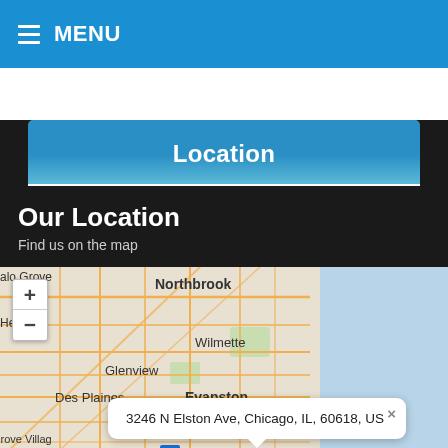MENU
Location
Our Location
Find us on the map
[Figure (map): Street map of the Chicago north shore area showing Northbrook, Glenview, Wilmette, Des Plaines, Evanston, Grove Village, Buffalo Grove, and related suburbs. Includes zoom controls (+ and -). An address popup shows: 3246 N Elston Ave, Chicago, IL, 60618, US]
3246 N Elston Ave, Chicago, IL, 60618, US